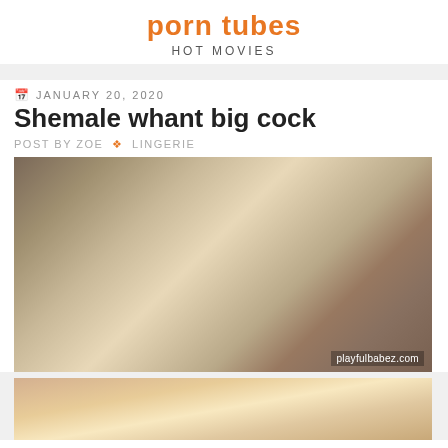porn tubes
HOT MOVIES
JANUARY 20, 2020
Shemale whant big cock
POST BY ZOE ❖ LINGERIE
[Figure (photo): Adult content thumbnail image with watermark 'playfulbabez.com']
[Figure (photo): Second adult content thumbnail image, partially visible]